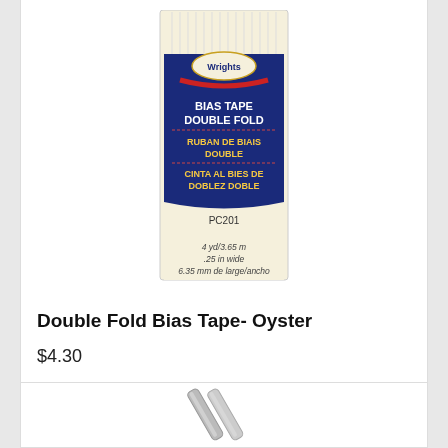[Figure (photo): Product package for Wrights Bias Tape Double Fold in Oyster color. Package shows navy blue label with 'BIAS TAPE DOUBLE FOLD', 'RUBAN DE BIAIS DOUBLE', 'CINTA AL BIES DE DOBLEZ DOBLE', product code PC201, 4 yd/3.65m, .25 in wide, 6.35 mm de large/ancho.]
Double Fold Bias Tape- Oyster
$4.30
Add to Cart
[Figure (photo): Partial view of another product, appears to be metallic/silver item, only bottom portion visible.]